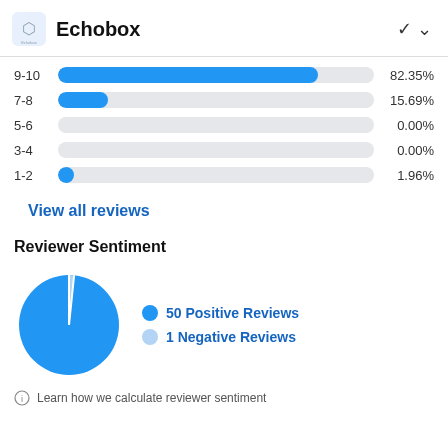Echobox
[Figure (bar-chart): Rating distribution]
View all reviews
Reviewer Sentiment
[Figure (pie-chart): Reviewer Sentiment]
Learn how we calculate reviewer sentiment